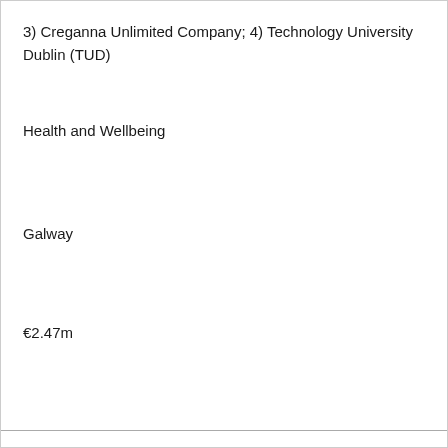3) Creganna Unlimited Company; 4) Technology University Dublin (TUD)
Health and Wellbeing
Galway
€2.47m
The MI-DRONE project will address consumer demand for fast, reliable, last-mile delivery using a drone. It will reduce delivery time to 3 mins and decrease emissions